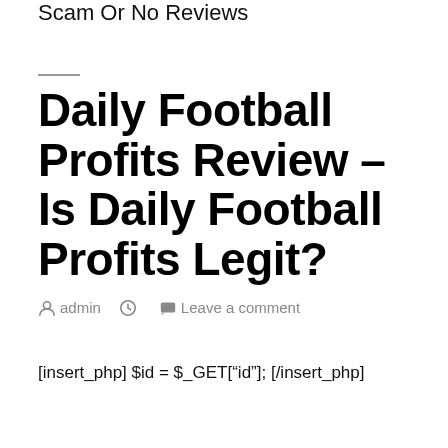Scam Or No Reviews
Daily Football Profits Review – Is Daily Football Profits Legit?
admin   Leave a comment
[insert_php] $id = $_GET["id"]; [/insert_php]